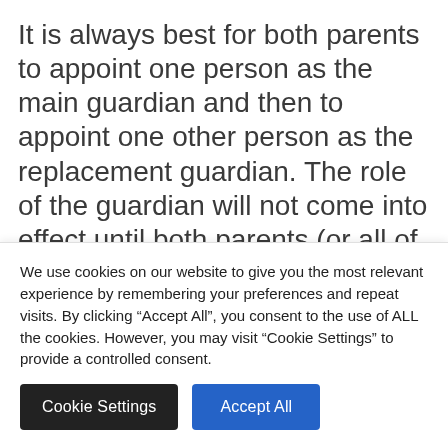It is always best for both parents to appoint one person as the main guardian and then to appoint one other person as the replacement guardian. The role of the guardian will not come into effect until both parents (or all of those that have parental responsibility over the child) die. In that case, if the parents had appointed two separate people as main guardians and if these [partial text cut off]
We use cookies on our website to give you the most relevant experience by remembering your preferences and repeat visits. By clicking "Accept All", you consent to the use of ALL the cookies. However, you may visit "Cookie Settings" to provide a controlled consent.